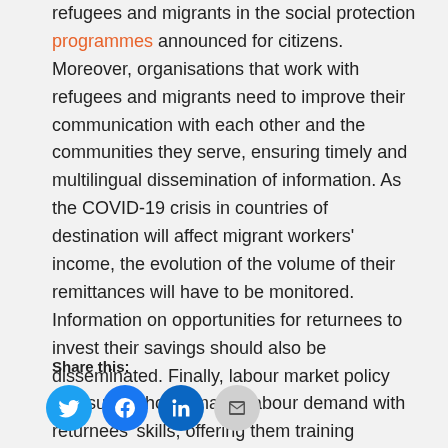refugees and migrants in the social protection programmes announced for citizens. Moreover, organisations that work with refugees and migrants need to improve their communication with each other and the communities they serve, ensuring timely and multilingual dissemination of information. As the COVID-19 crisis in countries of destination will affect migrant workers' income, the evolution of the volume of their remittances will have to be monitored. Information on opportunities for returnees to invest their savings should also be disseminated. Finally, labour market policy measures should match labour demand with returnees' skills, offering them training opportunities and guiding them in the creation of their own small enterprises.
Share this: